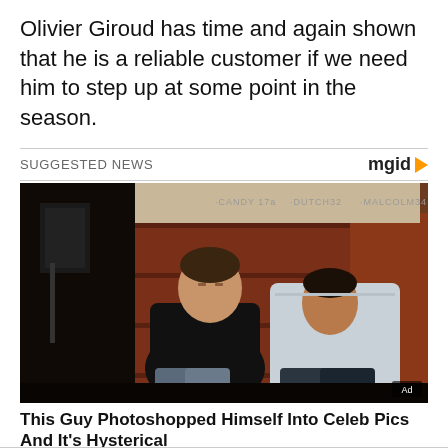Olivier Giroud has time and again shown that he is a reliable customer if we need him to step up at some point in the season.
SUGGESTED NEWS
[Figure (photo): Two men sitting against a wall with graffiti. One man in black sweater sits upright while another leans against him. Text on wall reads: CANDY 17a, DUTCH32, MALCOLM34. Small 'Ad' badge in bottom right corner.]
This Guy Photoshopped Himself Into Celeb Pics And It's Hysterical
BRAINBERRIES